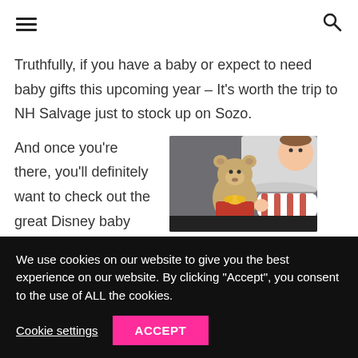[hamburger menu] [search icon]
Truthfully, if you have a baby or expect to need baby gifts this upcoming year – It's worth the trip to NH Salvage just to stock up on Sozo.
And once you're there, you'll definitely want to check out the great Disney baby toys
[Figure (photo): A young child in a red and white striped shirt reaching toward a Winnie the Pooh stuffed bear toy with a yellow ribbon, against a white pillow background.]
We use cookies on our website to give you the best experience on our website. By clicking "Accept", you consent to the use of ALL the cookies.
Cookie settings   ACCEPT